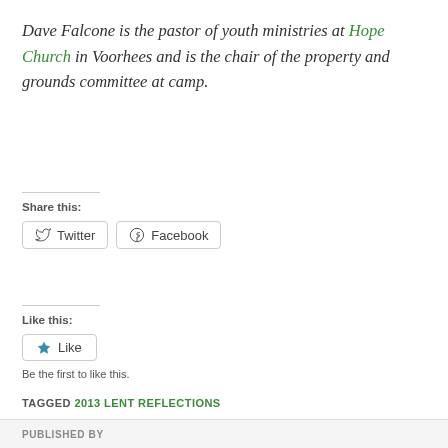Dave Falcone is the pastor of youth ministries at Hope Church in Voorhees and is the chair of the property and grounds committee at camp.
Share this:
[Figure (other): Twitter and Facebook share buttons]
Like this:
[Figure (other): Like button with star icon]
Be the first to like this.
TAGGED 2013 LENT REFLECTIONS
PUBLISHED BY